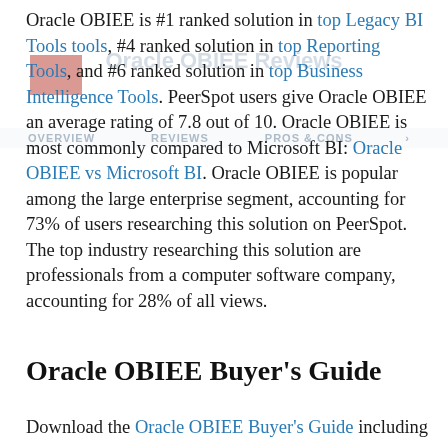Oracle OBIEE is #1 ranked solution in top Legacy BI Tools tools, #4 ranked solution in top Reporting Tools, and #6 ranked solution in top Business Intelligence Tools. PeerSpot users give Oracle OBIEE an average rating of 7.8 out of 10. Oracle OBIEE is most commonly compared to Microsoft BI: Oracle OBIEE vs Microsoft BI. Oracle OBIEE is popular among the large enterprise segment, accounting for 73% of users researching this solution on PeerSpot. The top industry researching this solution are professionals from a computer software company, accounting for 28% of all views.
Oracle OBIEE Buyer's Guide
Download the Oracle OBIEE Buyer's Guide including